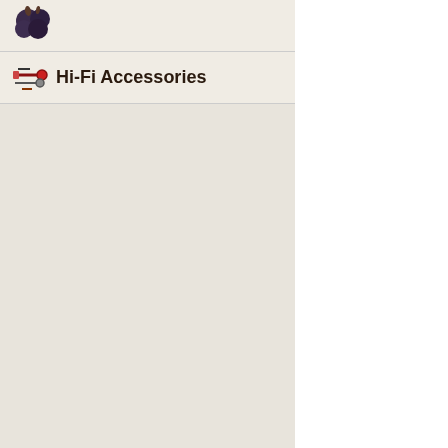[Figure (illustration): Small blueberry icon in top navigation bar]
Hi-Fi Accessories
[Figure (illustration): Hi-Fi accessories icon showing cables and connectors]
Ask manufacturer about this product
Views: 6320
Last update: 2010-0
Feature
Fireye II is a Portable

Fireye II is a Amplifie
Fireye II is light and h
of aluminum looks ve
quality of sound.